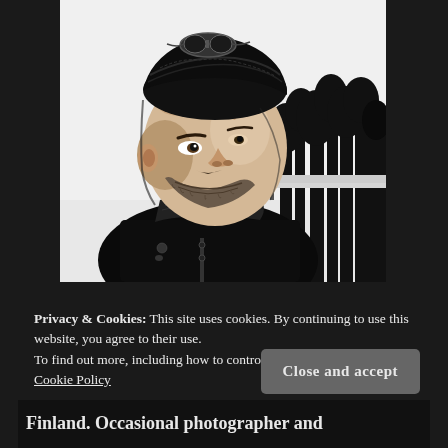[Figure (illustration): Black and white artistic/illustrated portrait of a bearded man wearing a dark beanie hat with goggles on top, looking upward to the right. Trees and a body of water visible in the background. High contrast illustration style.]
Privacy & Cookies: This site uses cookies. By continuing to use this website, you agree to their use.
To find out more, including how to control cookies, see here:
Cookie Policy
Close and accept
Finland. Occasional photographer and